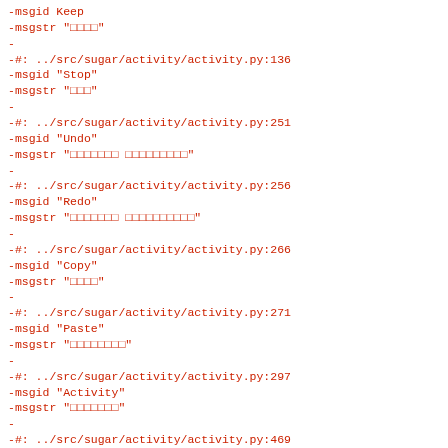-msgid  Keep
-msgstr "□□□□"
-
-#: ../src/sugar/activity/activity.py:136
-msgid "Stop"
-msgstr "□□□"
-
-#: ../src/sugar/activity/activity.py:251
-msgid "Undo"
-msgstr "□□□□□□□ □□□□□□□□□"
-
-#: ../src/sugar/activity/activity.py:256
-msgid "Redo"
-msgstr "□□□□□□□ □□□□□□□□□□"
-
-#: ../src/sugar/activity/activity.py:266
-msgid "Copy"
-msgstr "□□□□"
-
-#: ../src/sugar/activity/activity.py:271
-msgid "Paste"
-msgstr "□□□□□□□□"
-
-#: ../src/sugar/activity/activity.py:297
-msgid "Activity"
-msgstr "□□□□□□□"
-
-#: ../src/sugar/activity/activity.py:469
-#, python-format
-msgid "%s Activity"
-msgstr "%s □□□□□□□"